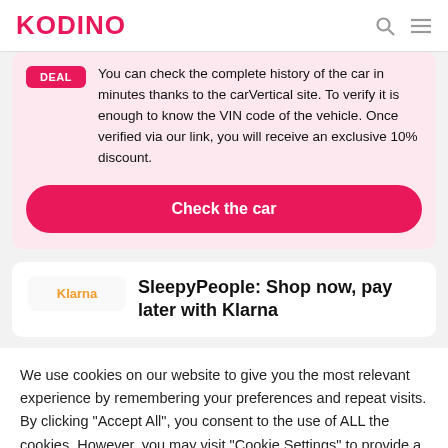KODINO
You can check the complete history of the car in minutes thanks to the carVertical site. To verify it is enough to know the VIN code of the vehicle. Once verified via our link, you will receive an exclusive 10% discount.
Check the car
SleepyPeople: Shop now, pay later with Klarna
We use cookies on our website to give you the most relevant experience by remembering your preferences and repeat visits. By clicking "Accept All", you consent to the use of ALL the cookies. However, you may visit "Cookie Settings" to provide a controlled consent.
Accept All